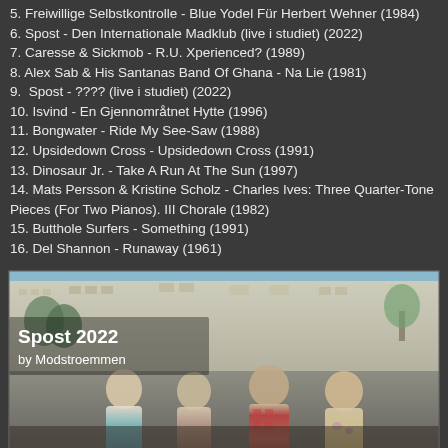5. Freiwillige Selbstkontrolle - Blue Yodel Für Herbert Wehner (1984)
6. Spost - Den Internationale Madklub (live i studiet) (2022)
7. Caresse & Sickmob - R.U. Xperienced? (1989)
8. Alex Sab & His Santanas Band Of Ghana - Na Lie (1981)
9.  Spost - ???? (live i studiet) (2022)
10. Isvind - En Gjennområtnet Hytte (1996)
11. Bongwater - Ride My See-Saw (1988)
12. Upsidedown Cross - Upsidedown Cross (1991)
13. Dinosaur Jr. - Take A Run At The Sun (1997)
14. Mats Persson & Kristine Scholz - Charles Ives: Three Quarter-Tone Pieces (For Two Pianos). III Chorale (1982)
15. Butthole Surfers - Something (1991)
16. Del Shannon - Runaway (1961)
[Figure (photo): A group of four people sitting outdoors at what appears to be a street or plaza setting with buildings and trees in the background. Text overlay reads 'Spost 2022' in bold white and 'by Modstroemmen' below it.]